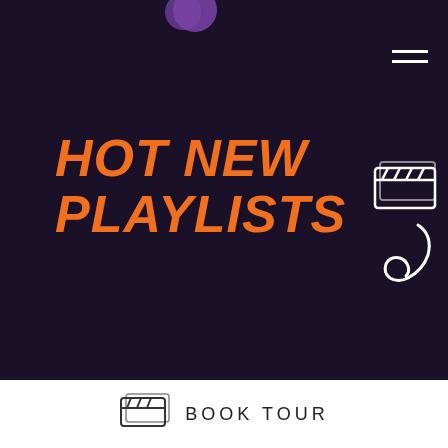[Figure (logo): Purple circular logo partially visible at top center]
[Figure (illustration): Hamburger menu icon (three horizontal white lines) in top right corner]
HOT NEW PLAYLISTS
[Figure (illustration): Ticket/clapperboard icon in upper right on dark background]
[Figure (illustration): Music note / phone receiver icon in right side on dark background]
[Figure (illustration): Ticket icon next to Book Tour text in white footer]
BOOK TOUR